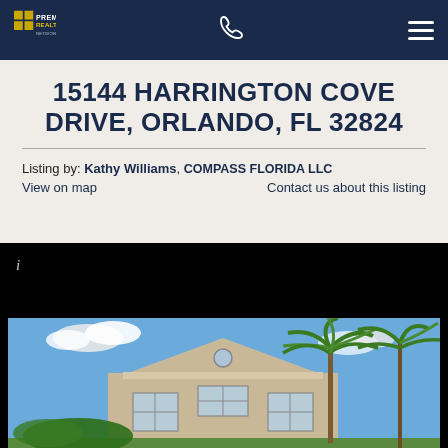Premier Realty Network — navigation bar with phone and menu icons
15144 HARRINGTON COVE DRIVE, ORLANDO, FL 32824
Listing by: Kathy Williams, COMPASS FLORIDA LLC
View on map    Contact us about this listing
[Figure (photo): Exterior photo of a two-story tan/beige house with a classical pediment, white-trimmed windows, and palm trees in the foreground, against a blue sky with clouds. Upper portion of the image is black (loading/blank). An italic info icon 'i' appears in the upper-left corner of the image area.]